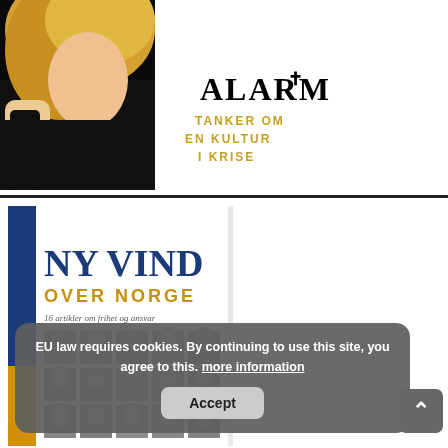[Figure (photo): Book cover: ALARM! Tanker om en kultur i krise - shows a blonde woman in black against white background with large title text]
[Figure (photo): Book cover: NY VIND OVER NORGE - 16 artikler om frihet og ansvar - blue and yellow spine, grid of author portrait photos in black and white]
EU law requires cookies. By continuing to use this site, you agree to this. more information
Accept